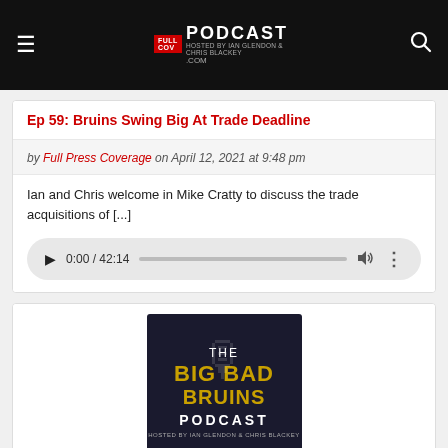THE BIG BAD BRUINS PODCAST — Hosted by Ian Glendon & Chris Blackey
Ep 59: Bruins Swing Big At Trade Deadline
by Full Press Coverage on April 12, 2021 at 9:48 pm
Ian and Chris welcome in Mike Cratty to discuss the trade acquisitions of [...]
0:00 / 42:14
[Figure (photo): The Big Bad Bruins Podcast logo — dark background with gold BIG BAD BRUINS text and PODCAST in white, hosted by Ian Glendon & Chris Blackey]
Ep 58: Chris' Trip To TD Garden, Bruins Trade Target Goes